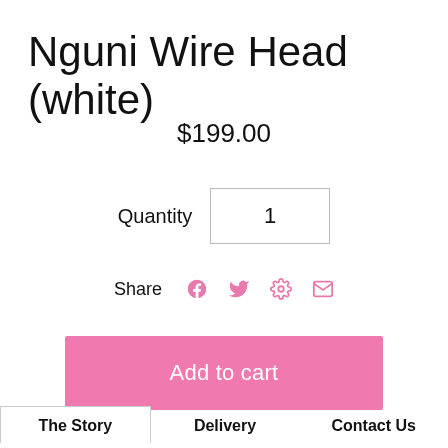Nguni Wire Head (white)
$199.00
Quantity  1
Share
Add to cart
The Story  Delivery  Contact Us